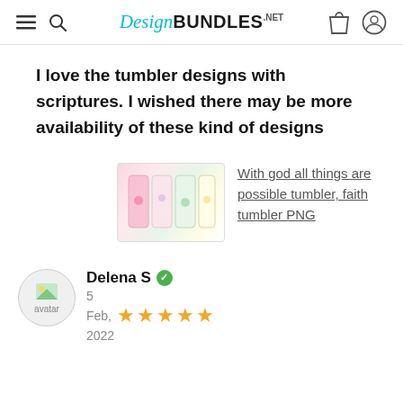DesignBUNDLES.NET
I love the tumbler designs with scriptures. I wished there may be more availability of these kind of designs
[Figure (photo): Product image of tumbler designs with floral and scripture prints]
With god all things are possible tumbler, faith tumbler PNG
Delena S
5 Feb, 2022
★★★★★